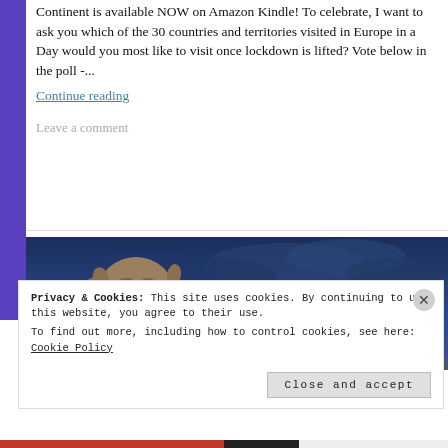Continent is available NOW on Amazon Kindle! To celebrate, I want to ask you which of the 30 countries and territories visited in Europe in a Day would you most like to visit once lockdown is lifted? Vote below in the poll -...
Continue reading
Leave a comment
[Figure (photo): A gargoyle stone statue against a dramatic dark blue cloudy sky, with the Eiffel Tower visible in the background glowing gold. Classic Paris rooftop view at dusk.]
Privacy & Cookies: This site uses cookies. By continuing to use this website, you agree to their use.
To find out more, including how to control cookies, see here: Cookie Policy
Close and accept